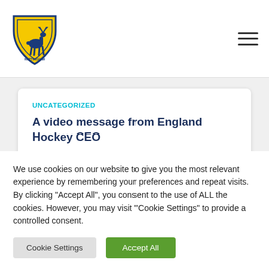Nottingham Hockey Club logo and navigation
UNCATEGORIZED
A video message from England Hockey CEO
On 30th September, Nick Pink, the CEO of England Hockey sent this video message to all hockey players. https://youtu.be/WYZNjewMGf0
We use cookies on our website to give you the most relevant experience by remembering your preferences and repeat visits. By clicking "Accept All", you consent to the use of ALL the cookies. However, you may visit "Cookie Settings" to provide a controlled consent.
Cookie Settings | Accept All